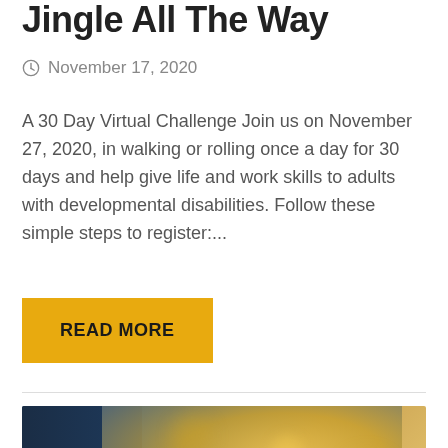Jingle All The Way
November 17, 2020
A 30 Day Virtual Challenge Join us on November 27, 2020, in walking or rolling once a day for 30 days and help give life and work skills to adults with developmental disabilities. Follow these simple steps to register:...
READ MORE
[Figure (photo): Blurred bokeh background with dark blue and golden tones showing partial image, with text 'why come work for us' overlaid in white italic serif font, and a yellow circular chat icon in the bottom right corner.]